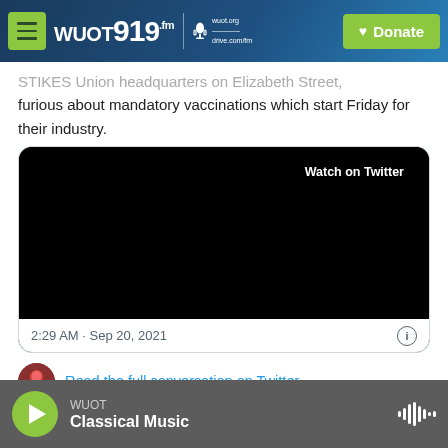WUOT 91.9 fm | wuot.org | Donate
STIKES Union headquarters on Elizabeth Street, furious about mandatory vaccinations which start Friday for their industry.
[Figure (screenshot): Embedded Twitter video player showing a black video frame with 'Watch on Twitter' button overlay, timestamp 2:29 AM · Sep 20, 2021 with an info icon]
Read the full conversation on Twitter
WUOT Classical Music